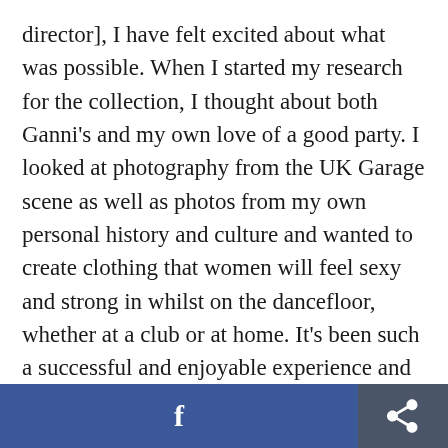director], I have felt excited about what was possible. When I started my research for the collection, I thought about both Ganni's and my own love of a good party. I looked at photography from the UK Garage scene as well as photos from my own personal history and culture and wanted to create clothing that women will feel sexy and strong in whilst on the dancefloor, whether at a club or at home. It's been such a successful and enjoyable experience and to be trusted to design the collection using Ganni's liability materials was